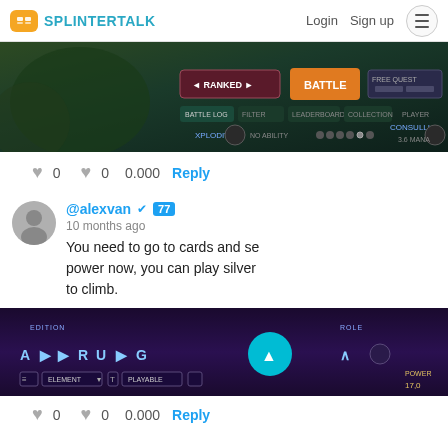SPLINTERTALK — Login  Sign up
[Figure (screenshot): Game UI screenshot showing RANKED and BATTLE buttons, BATTLE LOG tabs, and player cards with XPLODIVE and CONSULLI characters]
♥ 0  ♥ 0  0.000  Reply
@alexvan ✔ 77
10 months ago
You need to go to cards and se power now, you can play silver to climb.
[Figure (screenshot): Game card collection UI screenshot showing EDITION and ROLE filters, letter navigation buttons, a teal scroll-up button, and ELEMENT/PLAYABLE filter dropdowns with POWER 17,0 display]
♥ 0  ♥ 0  0.000  Reply